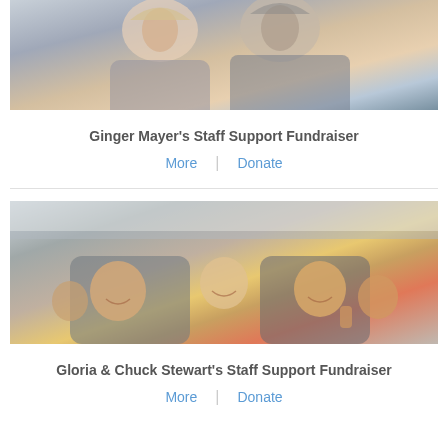[Figure (photo): Photo of a smiling couple, woman with blonde hair and glasses and man with beard, cropped at top]
Ginger Mayer's Staff Support Fundraiser
More | Donate
[Figure (photo): Group of people smiling inside a vehicle, seen from the back seat, giving thumbs up]
Gloria & Chuck Stewart's Staff Support Fundraiser
More | Donate